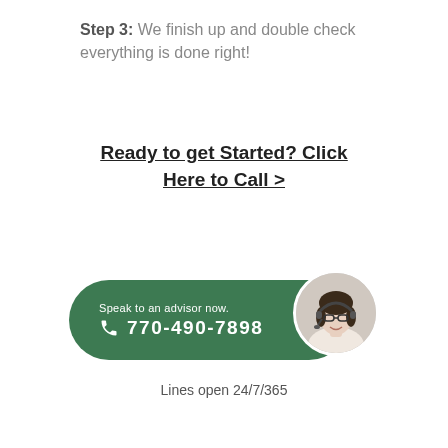Step 3: We finish up and double check everything is done right!
Ready to get Started? Click Here to Call >
[Figure (infographic): Green pill-shaped phone button with phone icon, text 'Speak to an advisor now.' and phone number '770-490-7898', with a circular photo of a smiling woman with glasses and a headset on the right side.]
Lines open 24/7/365